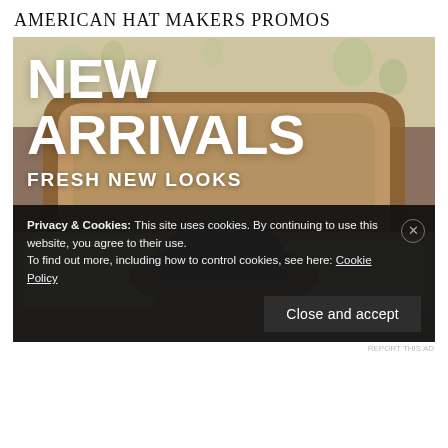American Hat Makers Promos
[Figure (photo): Promotional banner for American Hat Makers showing a person lying on a bed holding a wide-brim felt hat over their face, with text overlays reading 'NEW ARRIVALS' and 'FRESH NEW LOOKS']
Privacy & Cookies: This site uses cookies. By continuing to use this website, you agree to their use.
To find out more, including how to control cookies, see here: Cookie Policy
Close and accept